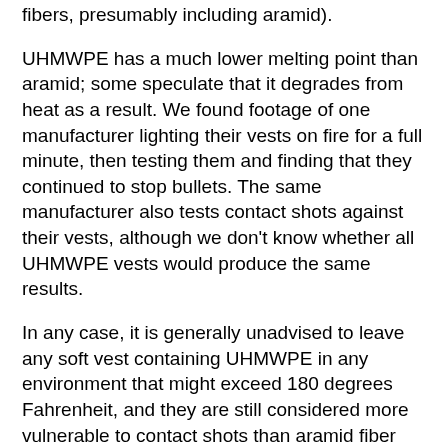fibers, presumably including aramid).
UHMWPE has a much lower melting point than aramid; some speculate that it degrades from heat as a result. We found footage of one manufacturer lighting their vests on fire for a full minute, then testing them and finding that they continued to stop bullets. The same manufacturer also tests contact shots against their vests, although we don't know whether all UHMWPE vests would produce the same results.
In any case, it is generally unadvised to leave any soft vest containing UHMWPE in any environment that might exceed 180 degrees Fahrenheit, and they are still considered more vulnerable to contact shots than aramid fiber vests.